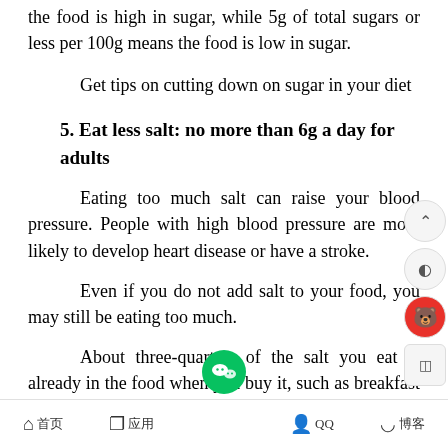the food is high in sugar, while 5g of total sugars or less per 100g means the food is low in sugar.
Get tips on cutting down on sugar in your diet
5. Eat less salt: no more than 6g a day for adults
Eating too much salt can raise your blood pressure. People with high blood pressure are more likely to develop heart disease or have a stroke.
Even if you do not add salt to your food, you may still be eating too much.
About three-quarters of the salt you eat is already in the food when you buy it, such as breakfast cereals,